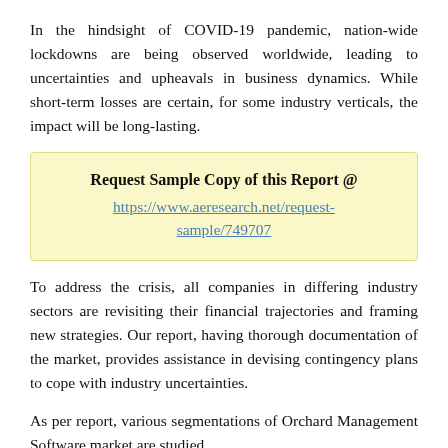In the hindsight of COVID-19 pandemic, nation-wide lockdowns are being observed worldwide, leading to uncertainties and upheavals in business dynamics. While short-term losses are certain, for some industry verticals, the impact will be long-lasting.
Request Sample Copy of this Report @ https://www.aeresearch.net/request-sample/749707
To address the crisis, all companies in differing industry sectors are revisiting their financial trajectories and framing new strategies. Our report, having thorough documentation of the market, provides assistance in devising contingency plans to cope with industry uncertainties.
As per report, various segmentations of Orchard Management Software market are studied